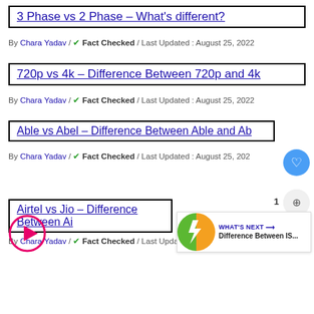3 Phase vs 2 Phase – What's different?
By Chara Yadav / ✔ Fact Checked / Last Updated : August 25, 2022
720p vs 4k – Difference Between 720p and 4k
By Chara Yadav / ✔ Fact Checked / Last Updated : August 25, 2022
Able vs Abel – Difference Between Able and Abel
By Chara Yadav / ✔ Fact Checked / Last Updated : August 25, 2022
[Figure (other): Pink play button circle icon]
Airtel vs Jio – Difference Between Airtel...
By Chara Yadav / ✔ Fact Checked / Last Updated : August 26, 2022